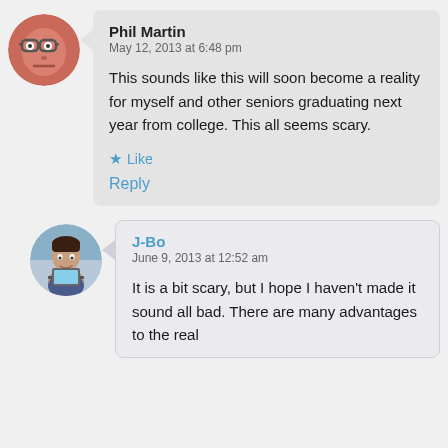Phil Martin
May 12, 2013 at 6:48 pm
This sounds like this will soon become a reality for myself and other seniors graduating next year from college. This all seems scary.
★ Like
Reply
J-Bo
June 9, 2013 at 12:52 am
It is a bit scary, but I hope I haven't made it sound all bad. There are many advantages to the real...